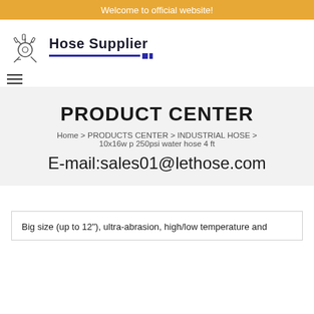Welcome to official website!
[Figure (logo): Hose Supplier company logo with mechanical/hose equipment icon and blue underline]
PRODUCT CENTER
Home > PRODUCTS CENTER > INDUSTRIAL HOSE > 10x16w p 250psi water hose 4 ft
E-mail:sales01@lethose.com
Big size (up to 12"), ultra-abrasion, high/low temperature and